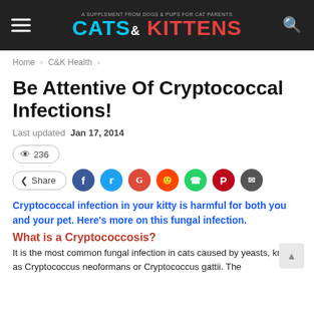CATS & KITTENS — A SUPPLEMENT FROM DOGS & PUPS FOR CAT PARENTS
Home > C&K Health >
Be Attentive Of Cryptococcal Infections!
Last updated Jan 17, 2014
👁 236
Share (Facebook, Twitter, Google, Reddit, WhatsApp, Pinterest, Email)
Cryptococcal infection in your kitty is harmful for both you and your pet. Here's more on this fungal infection.
What is a Cryptococcosis?
It is the most common fungal infection in cats caused by yeasts, known as Cryptococcus neoformans or Cryptococcus gattii. The